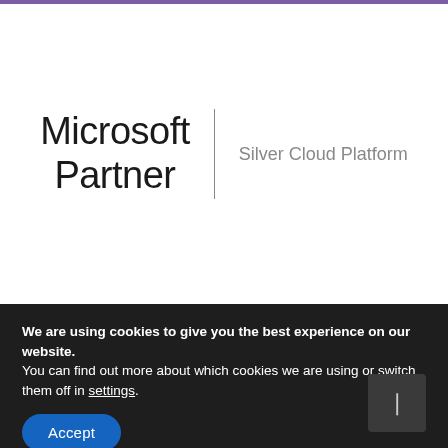[Figure (logo): Microsoft Partner Silver Cloud Platform logo with vertical divider line]
We are using cookies to give you the best experience on our website.
You can find out more about which cookies we are using or switch them off in settings.
Accept